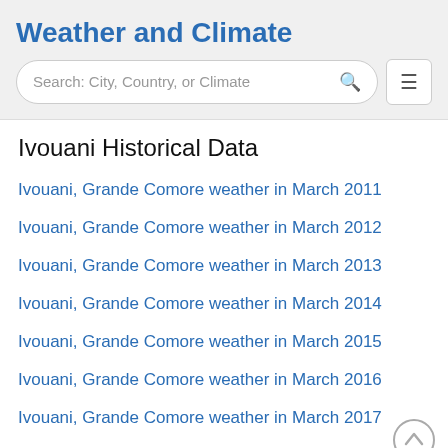Weather and Climate
Ivouani Historical Data
Ivouani, Grande Comore weather in March 2011
Ivouani, Grande Comore weather in March 2012
Ivouani, Grande Comore weather in March 2013
Ivouani, Grande Comore weather in March 2014
Ivouani, Grande Comore weather in March 2015
Ivouani, Grande Comore weather in March 2016
Ivouani, Grande Comore weather in March 2017
Ivouani, Grande Comore weather in March 2018